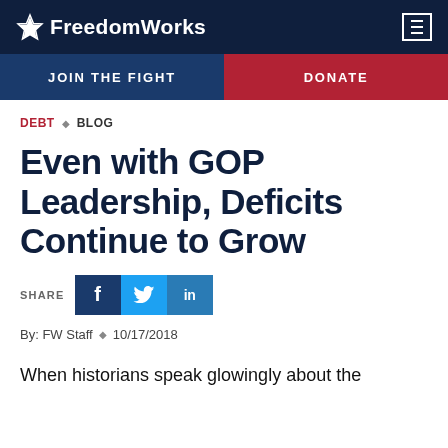FreedomWorks
JOIN THE FIGHT   DONATE
DEBT · BLOG
Even with GOP Leadership, Deficits Continue to Grow
SHARE [Facebook] [Twitter] [LinkedIn]
By: FW Staff · 10/17/2018
When historians speak glowingly about the